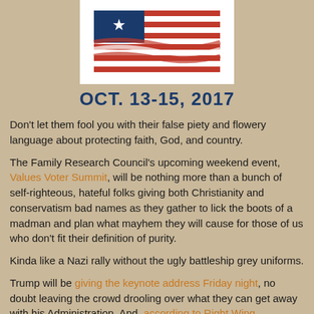[Figure (illustration): American flag illustration in red, white, and blue on a white background]
OCT. 13-15, 2017
Don't let them fool you with their false piety and flowery language about protecting faith, God, and country.
The Family Research Council's upcoming weekend event, Values Voter Summit, will be nothing more than a bunch of self-righteous, hateful folks giving both Christianity and conservatism bad names as they gather to lick the boots of a madman and plan what mayhem they will cause for those of us who don't fit their definition of purity.
Kinda like a Nazi rally without the ugly battleship grey uniforms.
Trump will be giving the keynote address Friday night, no doubt leaving the crowd drooling over what they can get away with his Administration. And, according to Right Wing